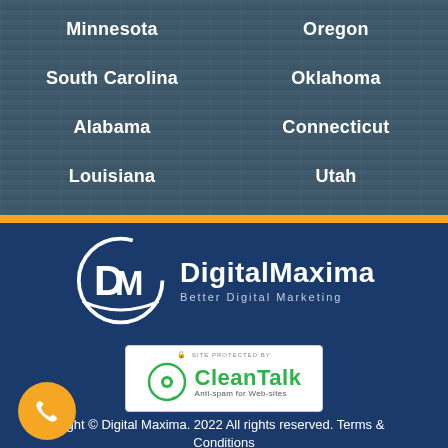Minnesota
Oregon
South Carolina
Oklahoma
Alabama
Connecticut
Louisiana
Utah
[Figure (logo): DigitalMaxima logo with circular DM icon and text 'DigitalMaxima Better Digital Marketing']
[Figure (logo): CleanTalk anti-spam badge: 'SITE PROTECTED BY CleanTalk Anti-spam for Web-sites']
Copyright © Digital Maxima. 2022 All rights reserved. Terms & Conditions